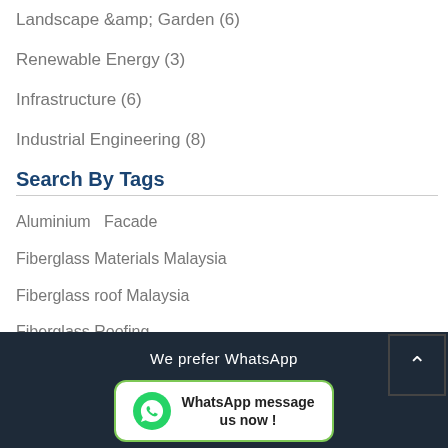Landscape &amp; Garden (6)
Renewable Energy (3)
Infrastructure (6)
Industrial Engineering (8)
Search By Tags
Aluminium   Facade
Fiberglass Materials Malaysia
Fiberglass roof Malaysia
Fiberglass Roofing
Fiberglass Supplier Malaysia   Green Roof
Metal   Roof
We prefer WhatsApp
[Figure (infographic): WhatsApp message us now! button with WhatsApp green logo icon]